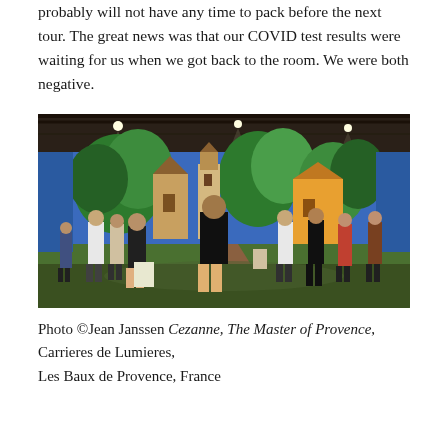probably will not have any time to pack before the next tour. The great news was that our COVID test results were waiting for us when we got back to the room. We were both negative.
[Figure (photo): Interior of an immersive art exhibition showing projected colorful paintings (Cezanne works) covering walls and floor. Multiple visitors standing and walking through the space viewing large-scale projections of landscapes with buildings and trees in vivid blues, greens, oranges and yellows. The space is a large industrial-style venue with overhead lighting.]
Photo ©Jean Janssen Cezanne, The Master of Provence, Carrieres de Lumieres, Les Baux de Provence, France